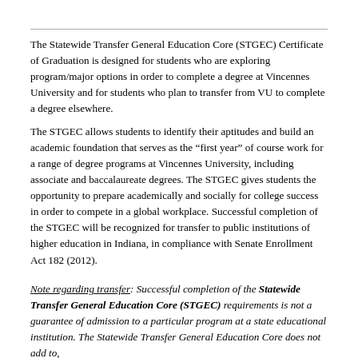The Statewide Transfer General Education Core (STGEC) Certificate of Graduation is designed for students who are exploring program/major options in order to complete a degree at Vincennes University and for students who plan to transfer from VU to complete a degree elsewhere.
The STGEC allows students to identify their aptitudes and build an academic foundation that serves as the “first year” of course work for a range of degree programs at Vincennes University, including associate and baccalaureate degrees. The STGEC gives students the opportunity to prepare academically and socially for college success in order to compete in a global workplace. Successful completion of the STGEC will be recognized for transfer to public institutions of higher education in Indiana, in compliance with Senate Enrollment Act 182 (2012).
Note regarding transfer: Successful completion of the Statewide Transfer General Education Core (STGEC) requirements is not a guarantee of admission to a particular program at a state educational institution. The Statewide Transfer General Education Core does not add to,